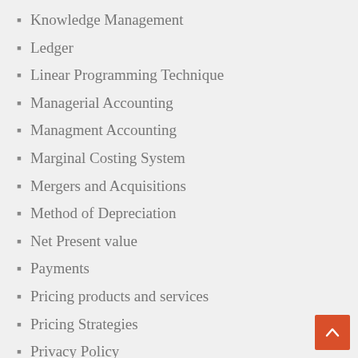Knowledge Management
Ledger
Linear Programming Technique
Managerial Accounting
Managment Accounting
Marginal Costing System
Mergers and Acquisitions
Method of Depreciation
Net Present value
Payments
Pricing products and services
Pricing Strategies
Privacy Policy
Process Costing System
Profit
Profit and Loss Account
quality cost